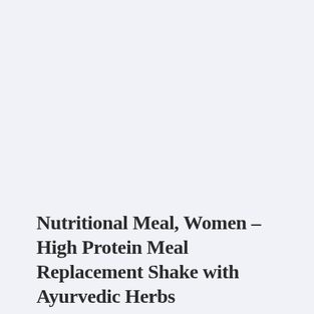Nutritional Meal, Women – High Protein Meal Replacement Shake with Ayurvedic Herbs
↑